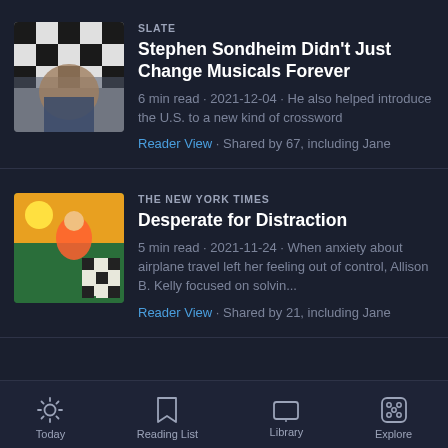[Figure (screenshot): Thumbnail image for Slate article - crossword puzzle grid with a person's face]
SLATE
Stephen Sondheim Didn't Just Change Musicals Forever
6 min read · 2021-12-04 · He also helped introduce the U.S. to a new kind of crossword
Reader View · Shared by 67, including Jane
[Figure (illustration): Thumbnail image for NYT article - colorful illustrated scene with crossword puzzle]
THE NEW YORK TIMES
Desperate for Distraction
5 min read · 2021-11-24 · When anxiety about airplane travel left her feeling out of control, Allison B. Kelly focused on solvin...
Reader View · Shared by 21, including Jane
Today   Reading List   Library   Explore